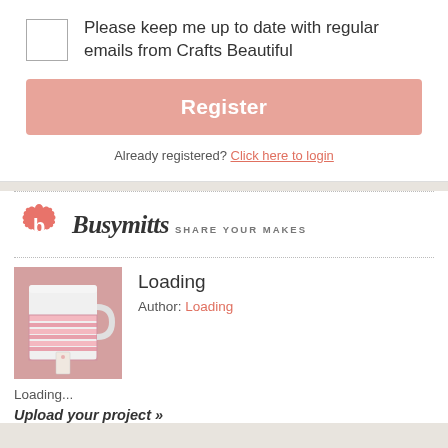Please keep me up to date with regular emails from Crafts Beautiful
Register
Already registered? Click here to login
[Figure (logo): Busymitts logo — pink flower badge with letter b, beside italic script 'Busymitts' and subtitle 'SHARE YOUR MAKES']
Loading
Author: Loading
[Figure (photo): A pink knitted mug cozy on a white cup]
Loading...
Upload your project »